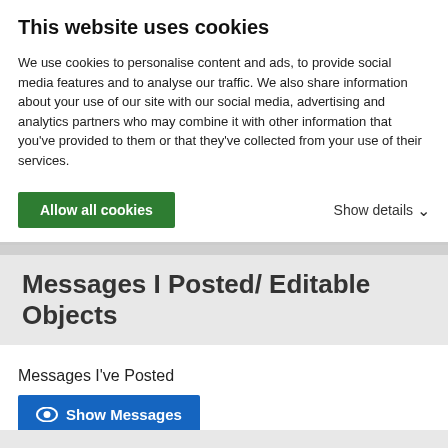This website uses cookies
We use cookies to personalise content and ads, to provide social media features and to analyse our traffic. We also share information about your use of our site with our social media, advertising and analytics partners who may combine it with other information that you've provided to them or that they've collected from your use of their services.
Allow all cookies
Show details
Messages I Posted/ Editable Objects
Messages I've Posted
Show Messages
Objects I Can Edit
Show Objects